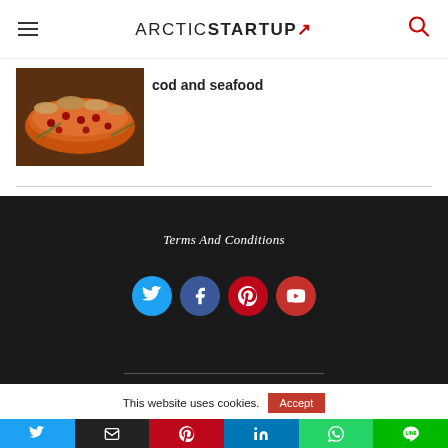ARCTIC STARTUP
[Figure (photo): Food photo showing salmon or similar fish with pomegranate seeds and nuts garnish]
cod and seafood
Terms And Conditions
[Figure (infographic): Social media circle icons: Twitter (blue), Facebook (dark blue), Pinterest (red), YouTube (red)]
This website uses cookies.
[Figure (infographic): Social share buttons bar: Twitter, Email, Pinterest, LinkedIn, WhatsApp, LINE]